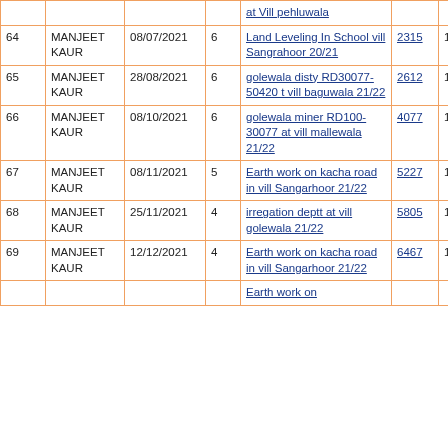| # | Name | Date | N | Description | ID | Amount | 0 |
| --- | --- | --- | --- | --- | --- | --- | --- |
|  |  |  |  | at Vill pehluwala |  |  |  |
| 64 | MANJEET KAUR | 08/07/2021 | 6 | Land Leveling In School vill Sangrahoor 20/21 | 2315 | 1614 | 0 |
| 65 | MANJEET KAUR | 28/08/2021 | 6 | golewala disty RD30077-50420 t vill baguwala 21/22 | 2612 | 1614 | 0 |
| 66 | MANJEET KAUR | 08/10/2021 | 6 | golewala miner RD100-30077 at vill mallewala 21/22 | 4077 | 1614 | 0 |
| 67 | MANJEET KAUR | 08/11/2021 | 5 | Earth work on kacha road in vill Sangarhoor 21/22 | 5227 | 1345 | 0 |
| 68 | MANJEET KAUR | 25/11/2021 | 4 | irregation deptt at vill golewala 21/22 | 5805 | 1076 | 0 |
| 69 | MANJEET KAUR | 12/12/2021 | 4 | Earth work on kacha road in vill Sangarhoor 21/22 | 6467 | 1076 | 0 |
|  |  |  |  | Earth work on... |  |  |  |